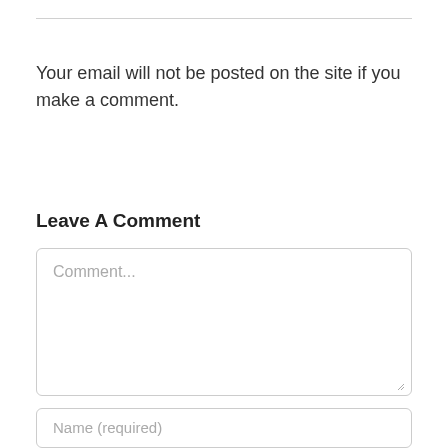Your email will not be posted on the site if you make a comment.
Leave A Comment
[Figure (other): Comment text area input field with placeholder text 'Comment...' and a resize handle in the bottom right corner]
[Figure (other): Name input field with placeholder text 'Name (required)']